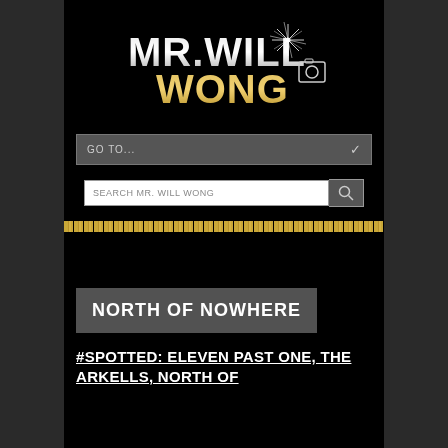[Figure (logo): Mr. Will Wong logo with stylized silver and gold text and starburst graphic]
GO TO...
SEARCH MR. WILL WONG
NORTH OF NOWHERE
#SPOTTED: ELEVEN PAST ONE, THE ARKELLS, NORTH OF